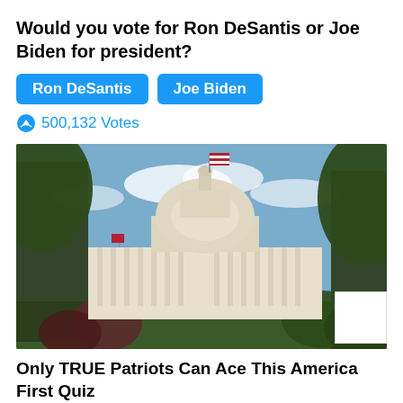Would you vote for Ron DeSantis or Joe Biden for president?
Ron DeSantis
Joe Biden
500,132 Votes
[Figure (photo): Photograph of the United States Capitol building dome with an American flag flying, surrounded by trees under a partly cloudy blue sky.]
Only TRUE Patriots Can Ace This America First Quiz
667